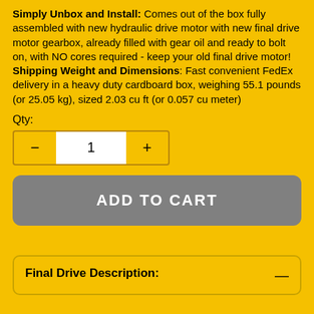Simply Unbox and Install: Comes out of the box fully assembled with new hydraulic drive motor with new final drive motor gearbox, already filled with gear oil and ready to bolt on, with NO cores required - keep your old final drive motor! Shipping Weight and Dimensions: Fast convenient FedEx delivery in a heavy duty cardboard box, weighing 55.1 pounds (or 25.05 kg), sized 2.03 cu ft (or 0.057 cu meter)
Qty:
[Figure (other): Quantity selector with minus button, input field showing 1, and plus button]
[Figure (other): ADD TO CART button (gray rounded rectangle)]
Final Drive Description: